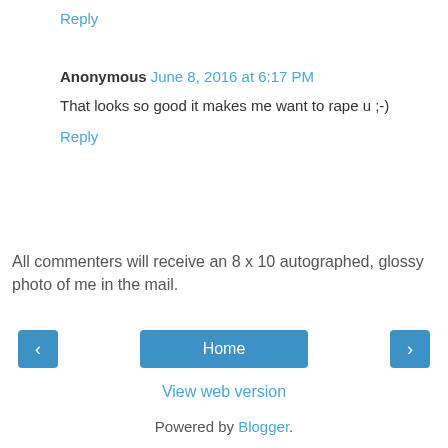Reply
Anonymous  June 8, 2016 at 6:17 PM
That looks so good it makes me want to rape u ;-)
Reply
All commenters will receive an 8 x 10 autographed, glossy photo of me in the mail.
‹
Home
›
View web version
Powered by Blogger.